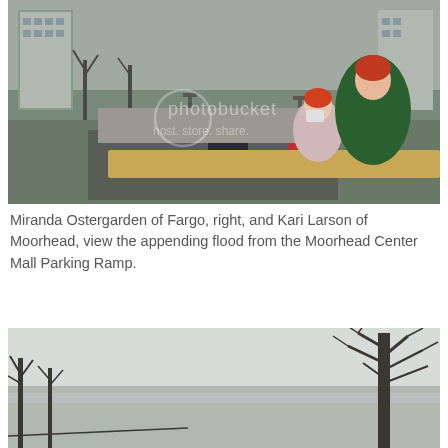[Figure (photo): Two women leaning over a concrete railing on a parking ramp, one taking a photo with a camera. Urban scene below with parked cars, street lights, bare trees, and multi-story buildings. Photobucket watermark overlay visible.]
Miranda Ostergarden of Fargo, right, and Kari Larson of Moorhead, view the appending flood from the Moorhead Center Mall Parking Ramp.
[Figure (photo): Outdoor landscape scene with a large bare tree on the right side, overcast sky, and flooded or misty flat land in the background.]